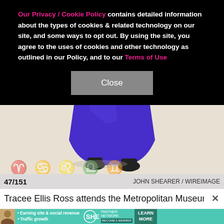Our Privacy / Cookie Policy contains detailed information about the types of cookies & related technology on our site, and some ways to opt out. By using the site, you agree to the uses of cookies and other technology as outlined in our Policy, and to our Terms of Use
[Figure (photo): Lower half of a person wearing a long bright blue/purple gown, standing on a decorative floor with floral patterns]
47/151    JOHN SHEARER / WIREIMAGE
Tracee Ellis Ross attends the Metropolitan Museum o
[Figure (other): SHE Partner Network advertisement banner with woman photo, bullet points about earning site & social revenue and traffic growth, SHE logo, and Learn More button]